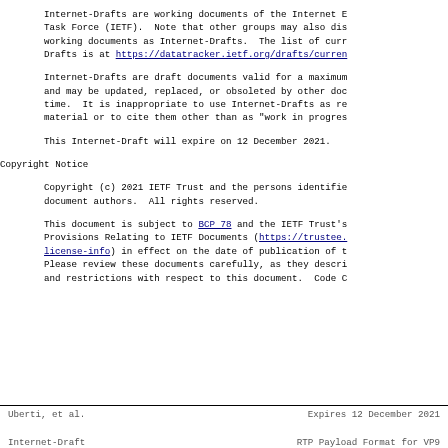Internet-Drafts are working documents of the Internet Engineering Task Force (IETF).  Note that other groups may also distribute working documents as Internet-Drafts.  The list of current Internet-Drafts is at https://datatracker.ietf.org/drafts/current/.
Internet-Drafts are draft documents valid for a maximum of six months and may be updated, replaced, or obsoleted by other documents at any time.  It is inappropriate to use Internet-Drafts as reference material or to cite them other than as "work in progress".
This Internet-Draft will expire on 12 December 2021.
Copyright Notice
Copyright (c) 2021 IETF Trust and the persons identified as the document authors.  All rights reserved.
This document is subject to BCP 78 and the IETF Trust's Legal Provisions Relating to IETF Documents (https://trustee.ietf.org/license-info) in effect on the date of publication of this document. Please review these documents carefully, as they describe your rights and restrictions with respect to this document.  Code C
Uberti, et al.              Expires 12 December 2021
Internet-Draft          RTP Payload Format for VP9